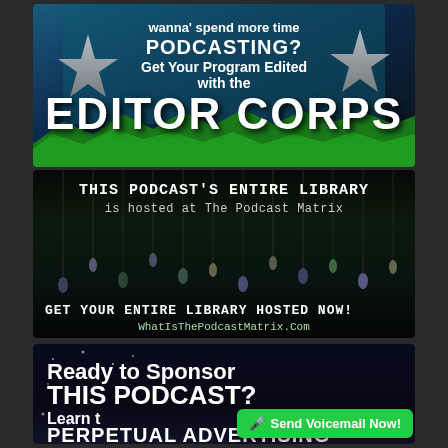[Figure (infographic): Editor Corps advertisement banner with stars, teal/dark blue background, silver star decorations, green mountain silhouette at bottom. Text: 'wanna' spend more time PODCASTING? Get Your Program Edited with the EDITOR CORPS']
[Figure (infographic): Podcast Matrix advertisement with dark green/black background and hanging light bulbs (Matrix-style). Text: 'THIS PODCAST'S ENTIRE LIBRARY is hosted at The Podcast Matrix GET YOUR ENTIRE LIBRARY HOSTED NOW! WhatIsThePodcastMatrix.Com']
[Figure (infographic): Sponsor advertisement with deep space/starfield background. Text: 'Ready to Sponsor THIS PODCAST? Learn t... PERPETUAL ADVERTISING' with a green 'Send Voicemail Now!' button overlay.]